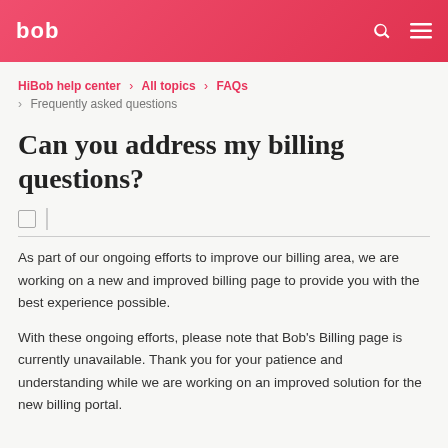bob
HiBob help center › All topics › FAQs › Frequently asked questions
Can you address my billing questions?
As part of our ongoing efforts to improve our billing area, we are working on a new and improved billing page to provide you with the best experience possible.
With these ongoing efforts, please note that Bob's Billing page is currently unavailable. Thank you for your patience and understanding while we are working on an improved solution for the new billing portal.